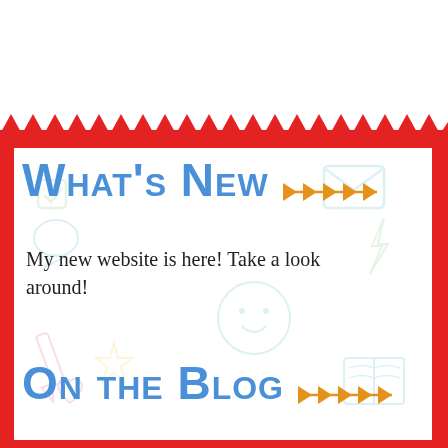What's New ▷▷▷▷▷
My new website is here! Take a look around!
On the Blog ▷▷▷▷▷